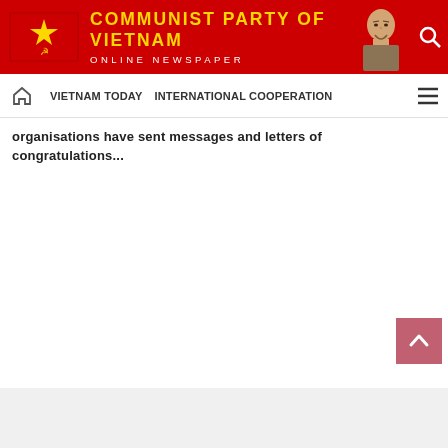COMMUNIST PARTY OF VIETNAM ONLINE NEWSPAPER
VIETNAM TODAY | INTERNATIONAL COOPERATION
organisations have sent messages and letters of congratulations...